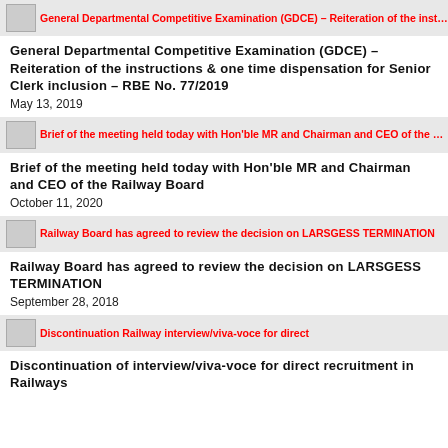[Figure (screenshot): Banner thumbnail with red text: General Departmental Competitive Examination (GDCE) – Reiteration of the instructions & one time dispensation (GATE)]
General Departmental Competitive Examination (GDCE) – Reiteration of the instructions & one time dispensation for Senior Clerk inclusion – RBE No. 77/2019
May 13, 2019
[Figure (screenshot): Banner thumbnail with red text: Brief of the meeting held today with Hon'ble MR and Chairman and CEO of the Railway Board]
Brief of the meeting held today with Hon'ble MR and Chairman and CEO of the Railway Board
October 11, 2020
[Figure (screenshot): Banner thumbnail with red text: Railway Board has agreed to review the decision on LARSGESS TERMINATION]
Railway Board has agreed to review the decision on LARSGESS TERMINATION
September 28, 2018
[Figure (screenshot): Banner thumbnail with red text: Discontinuation Railway interview/viva-voce for direct]
Discontinuation of interview/viva-voce for direct recruitment in Railways